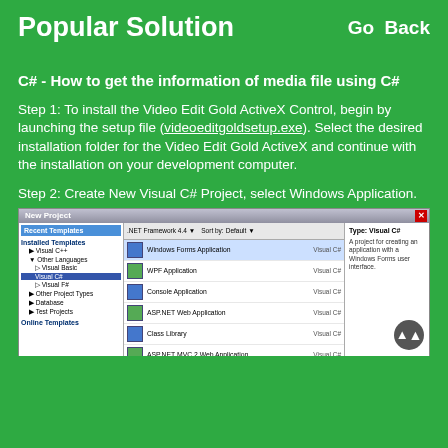Popular Solution    Go Back
C# - How to get the information of media file using C#
Step 1: To install the Video Edit Gold ActiveX Control, begin by launching the setup file (videoeditgoldsetup.exe). Select the desired installation folder for the Video Edit Gold ActiveX and continue with the installation on your development computer.
Step 2: Create New Visual C# Project, select Windows Application.
[Figure (screenshot): Visual Studio New Project dialog showing installed templates including Windows Forms Application, WPF Application, Console Application, ASP.NET Web Application, Class Library, and ASP.NET MVC 2 Web Application, all for Visual C#.]